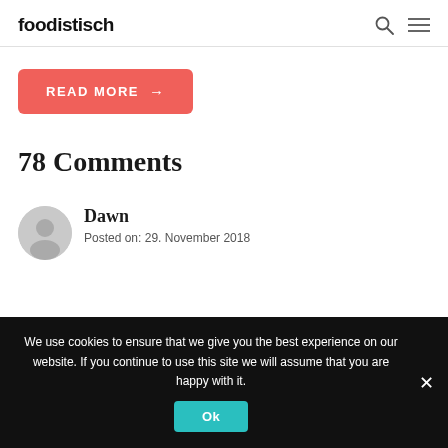foodistisch
READ MORE →
78 Comments
Dawn
Posted on: 29. November 2018
We use cookies to ensure that we give you the best experience on our website. If you continue to use this site we will assume that you are happy with it. Ok